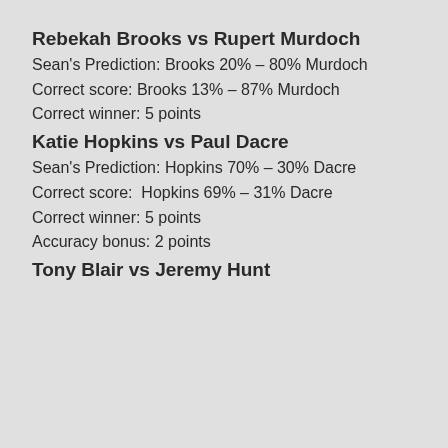Rebekah Brooks vs Rupert Murdoch
Sean's Prediction: Brooks 20% – 80% Murdoch
Correct score: Brooks 13% – 87% Murdoch
Correct winner: 5 points
Katie Hopkins vs Paul Dacre
Sean's Prediction: Hopkins 70% – 30% Dacre
Correct score:  Hopkins 69% – 31% Dacre
Correct winner: 5 points
Accuracy bonus: 2 points
Tony Blair vs Jeremy Hunt